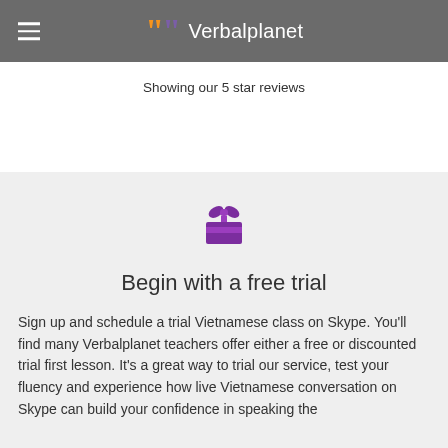Verbalplanet
Showing our 5 star reviews
[Figure (illustration): Purple gift box icon with bow on top]
Begin with a free trial
Sign up and schedule a trial Vietnamese class on Skype. You'll find many Verbalplanet teachers offer either a free or discounted trial first lesson. It's a great way to trial our service, test your fluency and experience how live Vietnamese conversation on Skype can build your confidence in speaking the